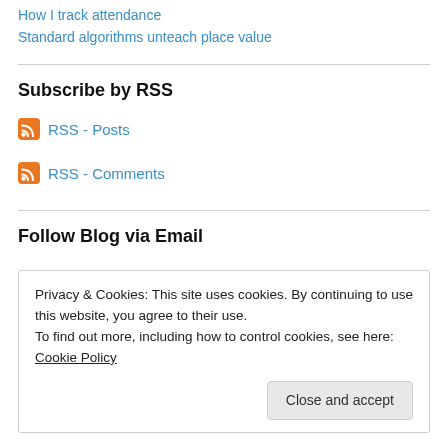How I track attendance
Standard algorithms unteach place value
Subscribe by RSS
RSS - Posts
RSS - Comments
Follow Blog via Email
Privacy & Cookies: This site uses cookies. By continuing to use this website, you agree to their use.
To find out more, including how to control cookies, see here: Cookie Policy
Close and accept